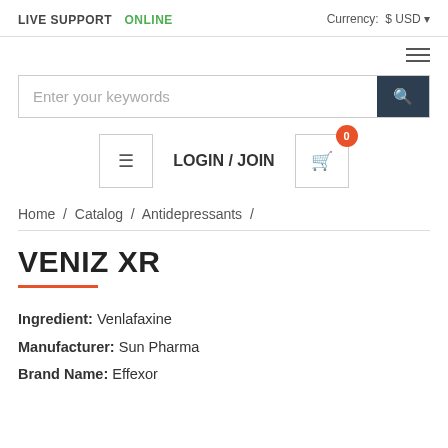LIVE SUPPORT  ONLINE  Currency: $ USD
[Figure (other): Hamburger menu icon (three horizontal lines)]
Enter your keywords
LOGIN / JOIN
Home / Catalog / Antidepressants /
VENIZ XR
Ingredient: Venlafaxine
Manufacturer: Sun Pharma
Brand Name: Effexor